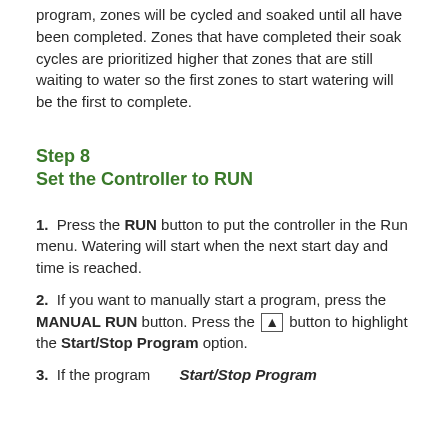program, zones will be cycled and soaked until all have been completed. Zones that have completed their soak cycles are prioritized higher that zones that are still waiting to water so the first zones to start watering will be the first to complete.
Step 8
Set the Controller to RUN
1.  Press the RUN button to put the controller in the Run menu. Watering will start when the next start day and time is reached.
2.  If you want to manually start a program, press the MANUAL RUN button. Press the ▲ button to highlight the Start/Stop Program option.
3.  If the program    Start/Stop Program